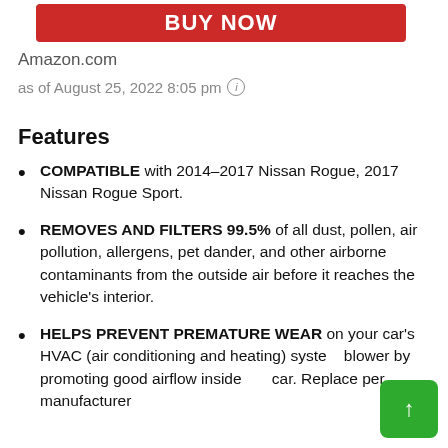[Figure (other): Red 'BUY NOW' button bar]
Amazon.com
as of August 25, 2022 8:05 pm ⓘ
Features
COMPATIBLE with 2014-2017 Nissan Rogue, 2017 Nissan Rogue Sport.
REMOVES AND FILTERS 99.5% of all dust, pollen, air pollution, allergens, pet dander, and other airborne contaminants from the outside air before it reaches the vehicle's interior.
HELPS PREVENT PREMATURE WEAR on your car's HVAC (air conditioning and heating) system blower by promoting good airflow inside the car. Replace per manufacturer